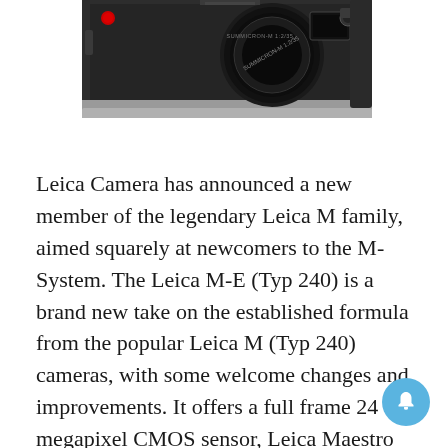[Figure (photo): Partial top view of a Leica camera body in black with silver trim, showing the top plate and lens mount area with a Summicron-M 1:2/35 lens partially visible. The camera is shown cropped at the top of the page.]
Leica Camera has announced a new member of the legendary Leica M family, aimed squarely at newcomers to the M-System. The Leica M-E (Typ 240) is a brand new take on the established formula from the popular Leica M (Typ 240) cameras, with some welcome changes and improvements. It offers a full frame 24 megapixel CMOS sensor, Leica Maestro processor, 2-year Leica warranty and access to the full portfolio of Leica M lenses for a price of $3,995 – making it the new entry-point of Leica M rangefinders.